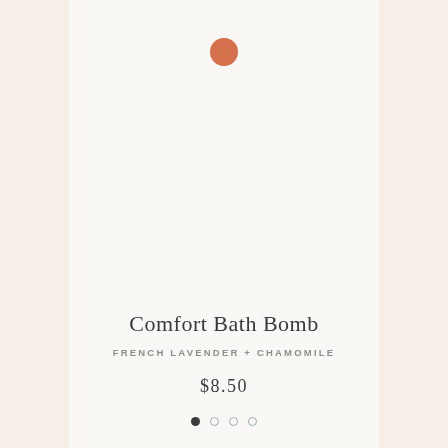[Figure (photo): Terracotta/orange colored circle dot representing a product icon or decorative element on a light cream card background]
Comfort Bath Bomb
FRENCH LAVENDER + CHAMOMILE
$8.50